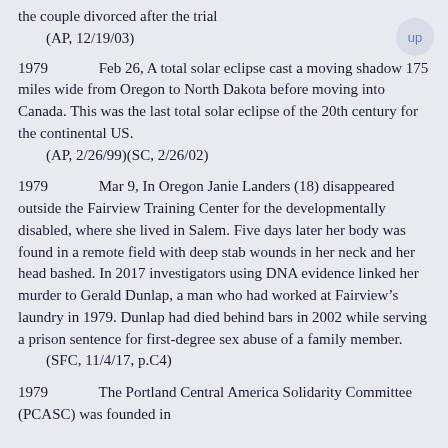the couple divorced after the trial
    (AP, 12/19/03)
1979	Feb 26, A total solar eclipse cast a moving shadow 175 miles wide from Oregon to North Dakota before moving into Canada. This was the last total solar eclipse of the 20th century for the continental US.
    (AP, 2/26/99)(SC, 2/26/02)
1979	Mar 9, In Oregon Janie Landers (18) disappeared outside the Fairview Training Center for the developmentally disabled, where she lived in Salem. Five days later her body was found in a remote field with deep stab wounds in her neck and her head bashed. In 2017 investigators using DNA evidence linked her murder to Gerald Dunlap, a man who had worked at Fairview's laundry in 1979. Dunlap had died behind bars in 2002 while serving a prison sentence for first-degree sex abuse of a family member.
    (SFC, 11/4/17, p.C4)
1979	The Portland Central America Solidarity Committee (PCASC) was founded in